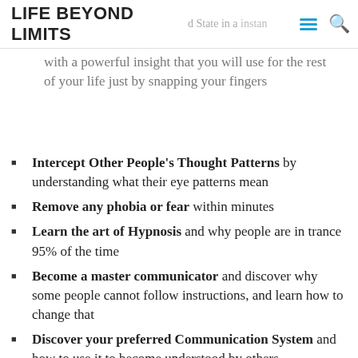LIFE BEYOND LIMITS
with a powerful insight that you will use for the rest of your life just by snapping your fingers
Intercept Other People's Thought Patterns by understanding what their eye patterns mean
Remove any phobia or fear within minutes
Learn the art of Hypnosis and why people are in trance 95% of the time
Become a master communicator and discover why some people cannot follow instructions, and learn how to change that
Discover your preferred Communication System and how to use it to become understood by others
Learn the Art of Asking More Powerful Questions for better outcomes